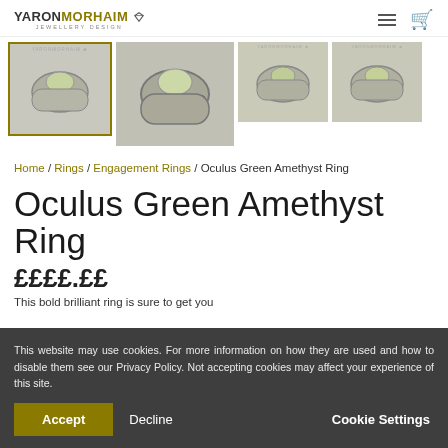YARON MORHAIM JEWELLERY DESIGN
[Figure (photo): Four thumbnail images of the Oculus Green Amethyst Ring — a silver ring with a large oval green amethyst center stone and small colored accent gems. First thumbnail selected with gold border, second is large view, third and fourth are smaller views.]
Home / Rings / Engagement Rings / Oculus Green Amethyst Ring
Oculus Green Amethyst Ring
This website may use cookies. For more information on how they are used and how to disable them see our Privacy Policy. Not accepting cookies may affect your experience of this site.
Accept   Decline   Cookie Settings
This bold brilliant ring is sure to get you